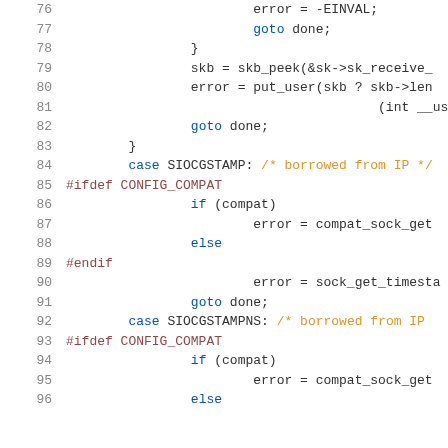[Figure (screenshot): Source code listing showing lines 76-96 of a C kernel networking file with syntax highlighting. Lines include error handling, skb operations, socket ioctl cases for SIOCGSTAMP and SIOCGSTAMPNS with CONFIG_COMPAT preprocessor blocks.]